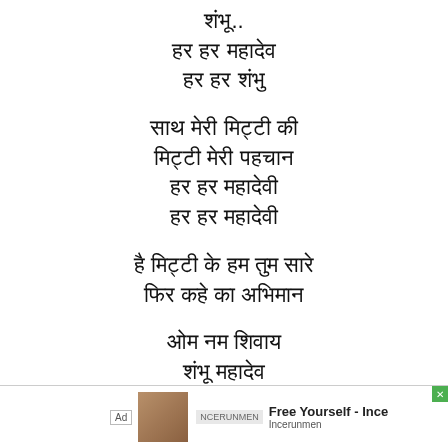शंभू..
हर हर महादेव
हर हर शंभु
साथ मेरी मिट्टी की
मिट्टी मेरी पहचान
हर हर महादेवी
हर हर महादेवी
है मिट्टी के हम तुम सारे
फिर कहे का अभिमान
ओम नम शिवाय
शंभू महादेव
हा..
[Figure (screenshot): Advertisement bar at bottom: Ad label, image of person, NCERUNMEN brand text, 'Free Yourself - Ince' ad text, green close button]